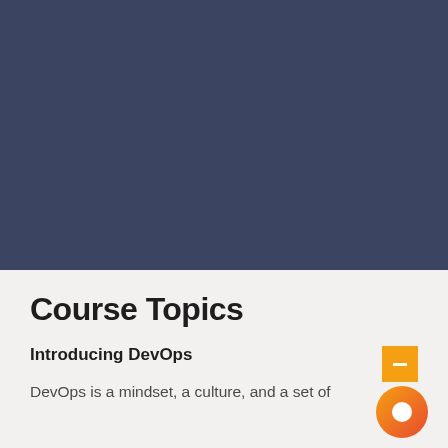[Figure (illustration): Dark blue-grey background banner filling the top portion of the page]
Course Topics
Introducing DevOps
DevOps is a mindset, a culture, and a set of